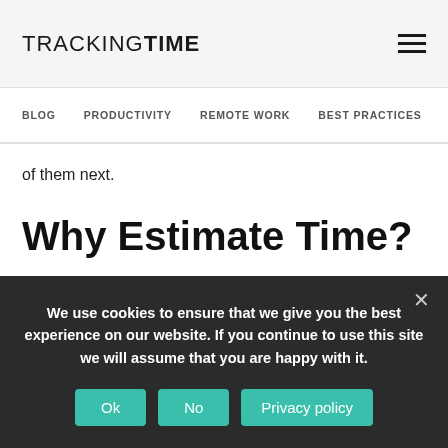TRACKINGTIME
BLOG  PRODUCTIVITY  REMOTE WORK  BEST PRACTICES  RE...
of them next.
Why Estimate Time?
We use cookies to ensure that we give you the best experience on our website. If you continue to use this site we will assume that you are happy with it.